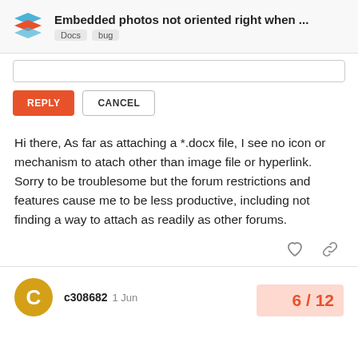Embedded photos not oriented right when ... Docs bug
[Figure (screenshot): Reply text input box with REPLY and CANCEL buttons]
Hi there, As far as attaching a *.docx file, I see no icon or mechanism to atach other than image file or hyperlink. Sorry to be troublesome but the forum restrictions and features cause me to be less productive, including not finding a way to attach as readily as other forums.
c308682 1 Jun
6 / 12